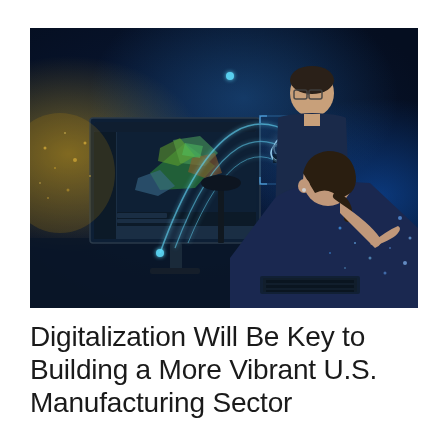[Figure (photo): Two engineers (a man standing wearing glasses, a woman seated) looking at a CAD/engineering software on a large monitor. Holographic digital overlays including glowing arc lines and a cloud computing icon with nodes are visible above the monitor. The background is a dark office environment with blue ambient lighting and digital particle effects.]
Digitalization Will Be Key to Building a More Vibrant U.S. Manufacturing Sector